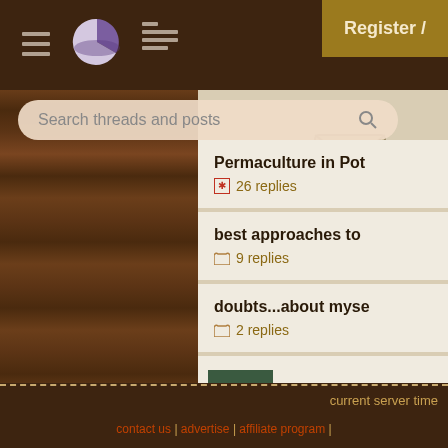Navigation bar with hamburger menu, pie chart icon, and grid icon
Register /
Search threads and posts
Permaculture in Pot — 26 replies
best approaches to — 9 replies
doubts...about myse — 2 replies
A Call for Guidance — 14 replies
current server time | contact us | advertise | affiliate program |